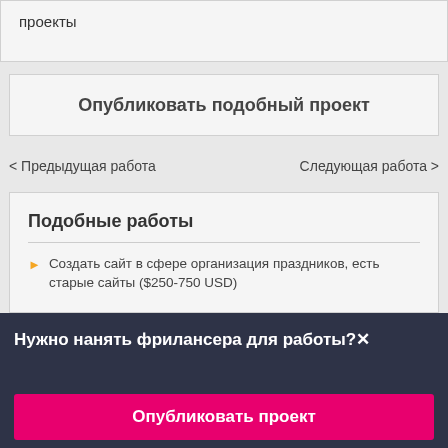проекты
Опубликовать подобный проект
< Предыдущая работа
Следующая работа >
Подобные работы
Создать сайт в сфере организация праздников, есть старые сайты ($250-750 USD)
Нужно нанять фрилансера для работы?×
Опубликовать проект